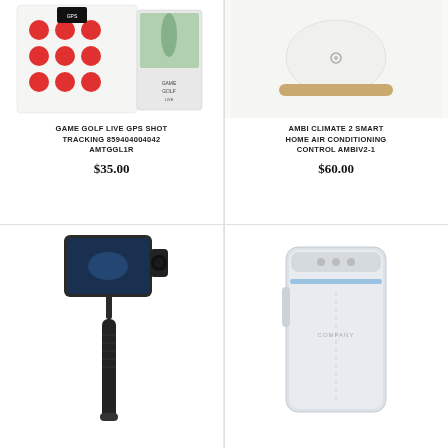[Figure (photo): Game Golf Live GPS Shot Tracking product image showing device with red golf balls]
GAME GOLF LIVE GPS SHOT TRACKING 859404004042 AMTGGL1R
$35.00
[Figure (photo): Ambi Climate 2 Smart Home Air Conditioning Control device - white oval shaped device with gold base]
AMBI CLIMATE 2 SMART HOME AIR CONDITIONING CONTROL AMBIV2-1
$60.00
[Figure (photo): Smartphone gimbal stabilizer with phone attached showing action video]
[Figure (photo): White rectangular portable air purifier or dehumidifier device]